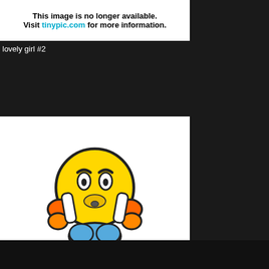[Figure (screenshot): Tinypic placeholder showing 'This image is no longer available. Visit tinypic.com for more information.' with a sad emoji mascot. Top cropped portion of same message.]
lovely girl #2
[Figure (screenshot): Tinypic placeholder image with sad yellow emoji character holding its head, tinypic logo, and text: 'This image is no longer available. Visit tinypic.com for more information.']